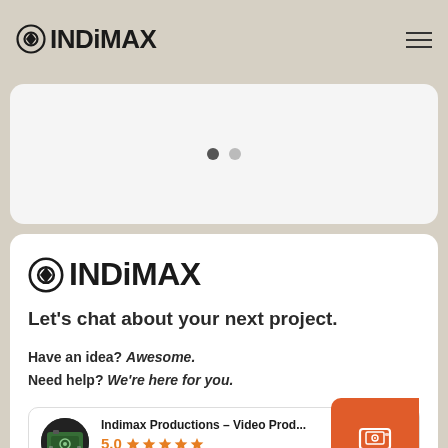INDiMAX
[Figure (screenshot): Slideshow carousel with two dot indicators (one active, one inactive)]
INDiMAX
Let's chat about your next project.
Have an idea? Awesome.
Need help? We're here for you.
Indimax Productions – Video Prod...
5.0 ★★★★★
Based on 33 reviews